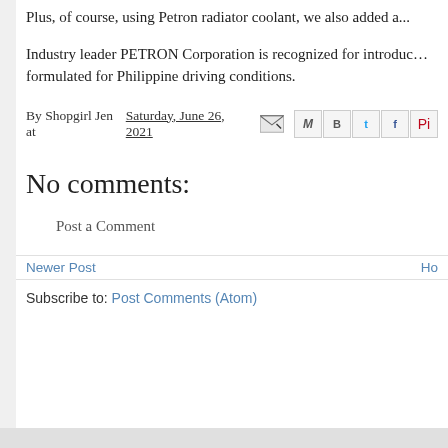Plus, of course, using Petron radiator coolant, we also added a...
Industry leader PETRON Corporation is recognized for introducing... formulated for Philippine driving conditions.
By Shopgirl Jen at Saturday, June 26, 2021
No comments:
Post a Comment
Newer Post    Ho
Subscribe to: Post Comments (Atom)